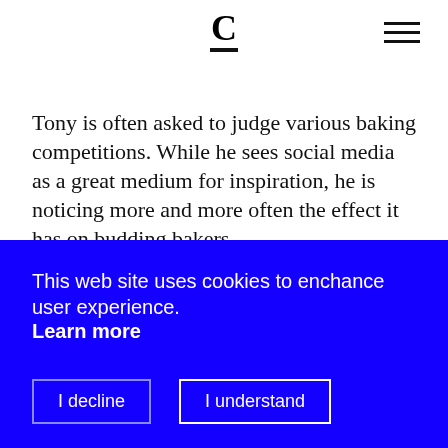C
Tony is often asked to judge various baking competitions. While he sees social media as a great medium for inspiration, he is noticing more and more often the effect it has on budding bakers.
“There are so many times I go to a competition and you think you’ve got something really good in front of you but in fact it tastes of nothing or there are too many components. On Instagram and Facebook, it can be more
This web site uses cookies to enchance user experience. Learn more
I decline
I understand